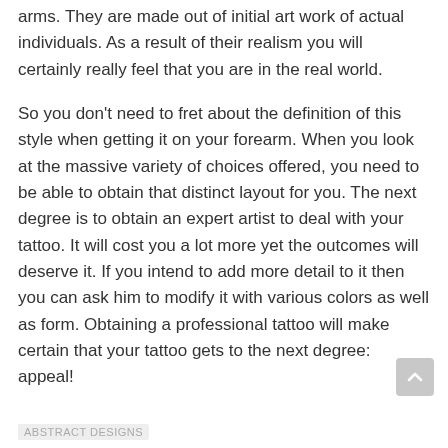arms. They are made out of initial art work of actual individuals. As a result of their realism you will certainly really feel that you are in the real world.
So you don't need to fret about the definition of this style when getting it on your forearm. When you look at the massive variety of choices offered, you need to be able to obtain that distinct layout for you. The next degree is to obtain an expert artist to deal with your tattoo. It will cost you a lot more yet the outcomes will deserve it. If you intend to add more detail to it then you can ask him to modify it with various colors as well as form. Obtaining a professional tattoo will make certain that your tattoo gets to the next degree: appeal!
ABSTRACT DESIGNS